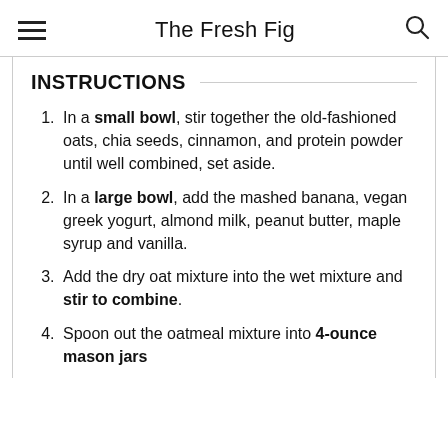The Fresh Fig
INSTRUCTIONS
In a small bowl, stir together the old-fashioned oats, chia seeds, cinnamon, and protein powder until well combined, set aside.
In a large bowl, add the mashed banana, vegan greek yogurt, almond milk, peanut butter, maple syrup and vanilla.
Add the dry oat mixture into the wet mixture and stir to combine.
Spoon out the oatmeal mixture into 4-ounce mason jars